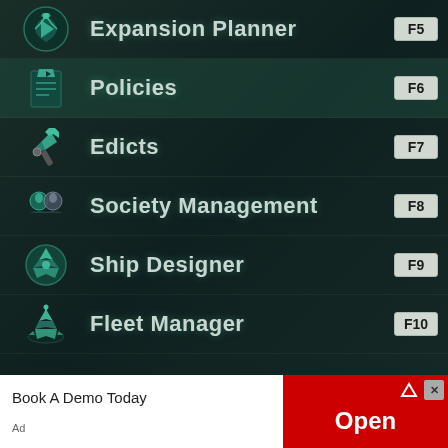[Figure (screenshot): Game UI menu panel showing keyboard shortcuts for game functions: Expansion Planner (F5), Policies (F6), Edicts (F7), Society Management (F8), Ship Designer (F9), Fleet Manager (F10) with corresponding teal icons on a dark green background]
Book A Demo Today
[Figure (infographic): Red advertisement banner with 'Open' button]
Ad